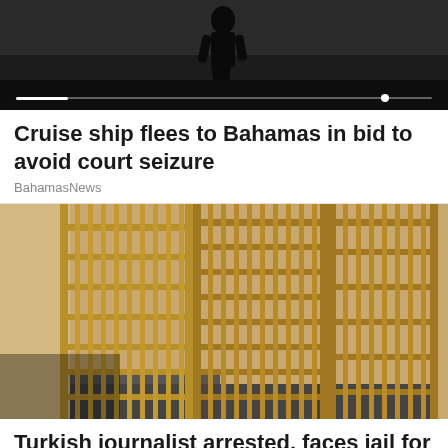[Figure (photo): Dark silhouette of a person walking, seen from behind, against a dark background with a progress/scrubber bar at the bottom]
Cruise ship flees to Bahamas in bid to avoid court seizure
BahamasNews
[Figure (photo): Interior corridor of a prison or jail showing rows of yellow/golden metal bar cell doors and gates]
Turkish journalist arrested, faces jail for insulting